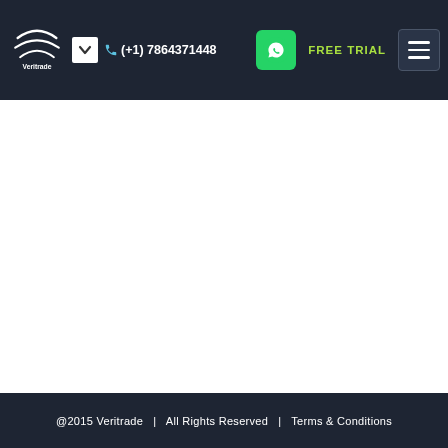Veritrade | (+1) 7864371448 | FREE TRIAL
@2015 Veritrade  |  All Rights Reserved  |  Terms & Conditions